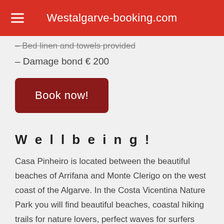Westalgarve-booking.com
Bed linen and towels provided
– Damage bond € 200
[Figure (other): Dark red rounded button labeled 'Book now!']
Wellbeing !
Casa Pinheiro is located between the beautiful beaches of Arrifana and Monte Clerigo on the west coast of the Algarve. In the Costa Vicentina Nature Park you will find beautiful beaches, coastal hiking trails for nature lovers, perfect waves for surfers and much more.
This holidayhouse is situated in the center of the